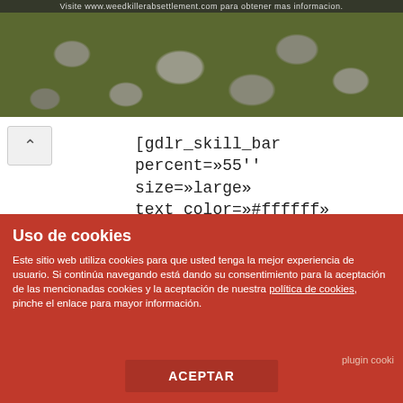[Figure (photo): Top banner with stone/grass background and text 'Visite www.weedkillerabsettlement.com para obtener mas informacion.']
[gdlr_skill_bar percent=»55'' size=»large» text_color=»#ffffff» background_color=»#e9e9e9'' progress_color=»#da6545'' icon=»icon-html5'']HTML/CSS[/gdlr_skill_bar]
[gdlr_code title=»Get the code» active=»no»]
[gdlr_skill_bar percent=»70'' size=»large» text_color=»#ffffff»
Uso de cookies
Este sitio web utiliza cookies para que usted tenga la mejor experiencia de usuario. Si continúa navegando está dando su consentimiento para la aceptación de las mencionadas cookies y la aceptación de nuestra política de cookies, pinche el enlace para mayor información.
ACEPTAR
plugin cooki